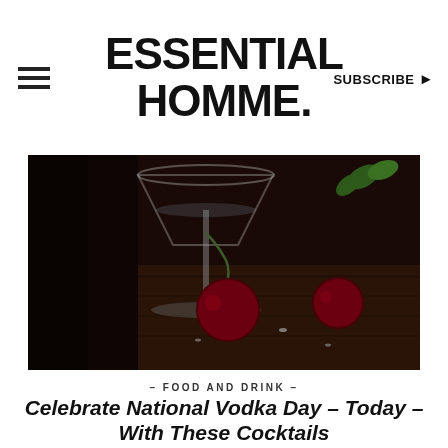ESSENTIAL HOMME.
[Figure (photo): Close-up dark photo of a martini glass with cherries on a dark wooden surface, herbs visible in background]
– FOOD AND DRINK –
Celebrate National Vodka Day – Today – With These Cocktails
OCTOBER 4, 2013
Words by EVAN ROSS KATZ